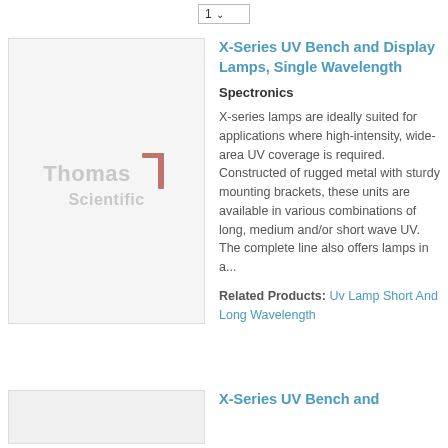[Figure (screenshot): Dropdown select control showing '1' with chevron arrow]
[Figure (logo): Thomas Scientific watermark logo inside product image placeholder — gray text 'Thomas' with red geometric T mark and 'Scientific' below]
X-Series UV Bench and Display Lamps, Single Wavelength
Spectronics
X-series lamps are ideally suited for applications where high-intensity, wide-area UV coverage is required. Constructed of rugged metal with sturdy mounting brackets, these units are available in various combinations of long, medium and/or short wave UV. The complete line also offers lamps in a...
Related Products: Uv Lamp Short And Long Wavelength
X-Series UV Bench and